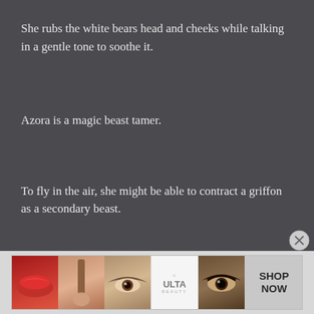She rubs the white bears head and cheeks while talking in a gentle tone to soothe it.
Azora is a magic beast tamer.
To fly in the air, she might be able to contract a griffon as a secondary beast.
With such an impression, the chaotic battle draws to a close.
[Figure (photo): Ulta Beauty advertisement banner showing makeup photos (lips with red lipstick, makeup brush, eye with mascara, Ulta logo, dramatic eye makeup) with SHOP NOW button]